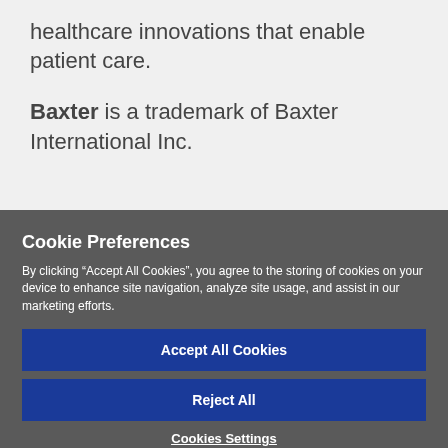healthcare innovations that enable patient care.
Baxter is a trademark of Baxter International Inc.
Cookie Preferences
By clicking “Accept All Cookies”, you agree to the storing of cookies on your device to enhance site navigation, analyze site usage, and assist in our marketing efforts.
Accept All Cookies
Reject All
Cookies Settings